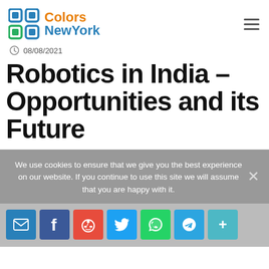Colors NewYork
08/08/2021
Robotics in India – Opportunities and its Future
We use cookies to ensure that we give you the best experience on our website. If you continue to use this site we will assume that you are happy with it.